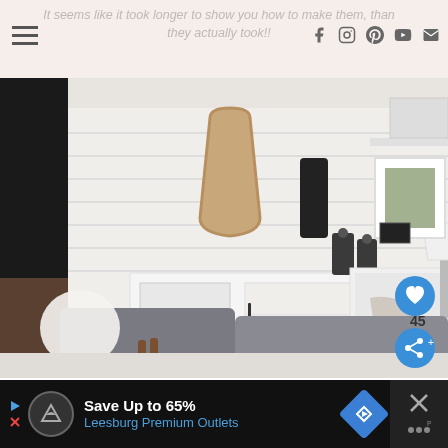It seems like it took longer to show you how to make them, than they actually took!!
[Figure (photo): Interior living room photo showing a farmhouse-style room with shiplap walls, an arched window mirror, grey storage ottomans in the foreground, white sofa with throw, white media console, lantern decor, and framed family photo on shelf. Social action buttons (heart, share, arrow) and a count of 45 are overlaid on the right side.]
Save Up to 65%
Leesburg Premium Outlets